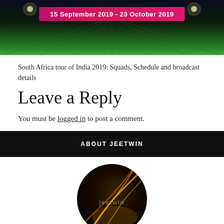[Figure (photo): Cricket stadium banner image with green pitch and pink/red date bar showing '15 September 2019 - 23 October 2019']
South Africa tour of India 2019: Squads, Schedule and broadcast details
Leave a Reply
You must be logged in to post a comment.
ABOUT JEETWIN
[Figure (photo): Circular Jeetwin logo/avatar with dark background and golden light streaks, showing a figure and the Jeetwin brand name]